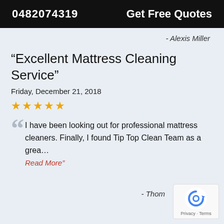0482074319   Get Free Quotes
- Alexis Miller
“Excellent Mattress Cleaning Service”
Friday, December 21, 2018
★★★★★
I have been looking out for professional mattress cleaners. Finally, I found Tip Top Clean Team as a grea…
Read More”
- Thom
[Figure (logo): reCAPTCHA badge with circular arrow icon and Privacy - Terms text]